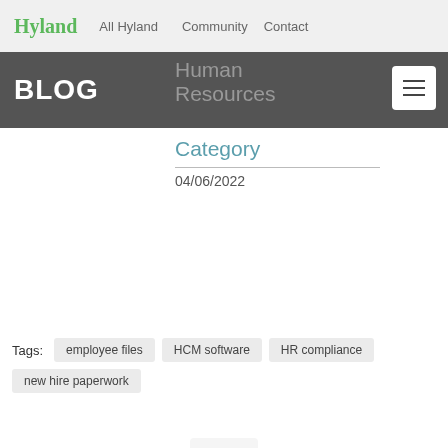Hyland  All Hyland  Community  Contact
BLOG
Human Resources Category
04/06/2022
Tags:  employee files  HCM software  HR compliance  new hire paperwork
Popular Resources